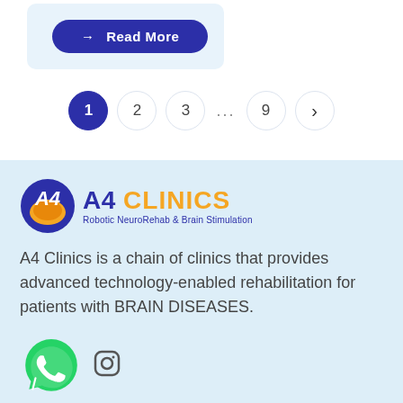[Figure (other): Read More button with arrow, styled as dark blue pill/rounded rectangle]
[Figure (other): Pagination controls: page 1 (active/filled dark blue circle), 2, 3, ..., 9, and a right arrow button]
[Figure (logo): A4 Clinics logo with circular emblem, text 'A4 CLINICS' and tagline 'Robotic NeuroRehab & Brain Stimulation']
A4 Clinics is a chain of clinics that provides advanced technology-enabled rehabilitation for patients with BRAIN DISEASES.
[Figure (other): WhatsApp icon (green circle with phone handset) and Instagram icon (rounded square outline with circle)]